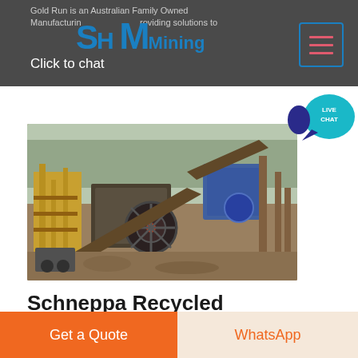Gold Run is an Australian Family Owned Manufacturing business providing solutions to
Click to chat
[Figure (photo): Outdoor mining/crushing plant machinery with conveyor belts, jaw crushers, and industrial equipment on a construction/mining site. Heavy machinery includes yellow and blue-painted crusher units, conveyor belts, and structural steel frameworks. Natural vegetation and hazy sky visible in the background.]
Schneppa Recycled Crushed Glass
Australia Wide Delivery Enquiries Call 0427 939
Get a Quote
WhatsApp